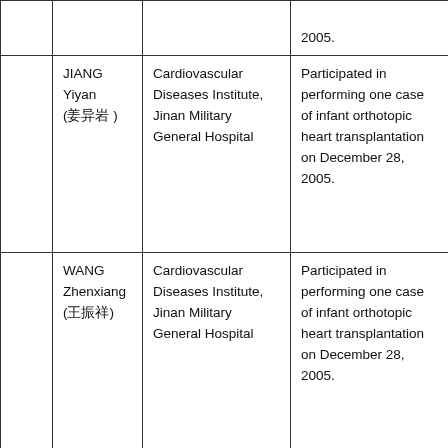|  | Name | Institution | Participation |
| --- | --- | --- | --- |
|  |  |  | 2005. |
|  | JIANG Yiyan (姜异岩) | Cardiovascular Diseases Institute, Jinan Military General Hospital | Participated in performing one case of infant orthotopic heart transplantation on December 28, 2005. |
|  | WANG Zhenxiang (王振祥) | Cardiovascular Diseases Institute, Jinan Military General Hospital | Participated in performing one case of infant orthotopic heart transplantation on December 28, 2005. |
|  |  |  | Participated in |